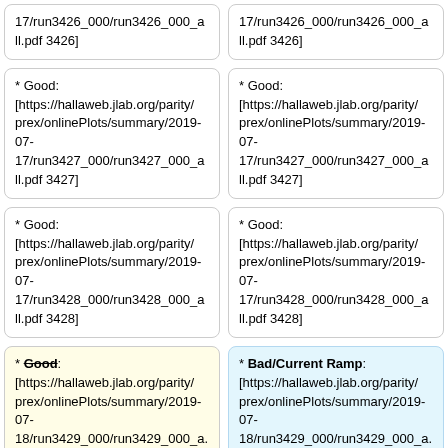17/run3426_000/run3426_000_all.pdf 3426]
17/run3426_000/run3426_000_all.pdf 3426]
* Good: [https://hallaweb.jlab.org/parity/prex/onlinePlots/summary/2019-07-17/run3427_000/run3427_000_all.pdf 3427]
* Good: [https://hallaweb.jlab.org/parity/prex/onlinePlots/summary/2019-07-17/run3427_000/run3427_000_all.pdf 3427]
* Good: [https://hallaweb.jlab.org/parity/prex/onlinePlots/summary/2019-07-17/run3428_000/run3428_000_all.pdf 3428]
* Good: [https://hallaweb.jlab.org/parity/prex/onlinePlots/summary/2019-07-17/run3428_000/run3428_000_all.pdf 3428]
* Good: [https://hallaweb.jlab.org/parity/prex/onlinePlots/summary/2019-07-18/run3429_000/run3429_000_a...
* Bad/Current Ramp: [https://hallaweb.jlab.org/parity/prex/onlinePlots/summary/2019-07-18/run3429_000/run3429_000_a...